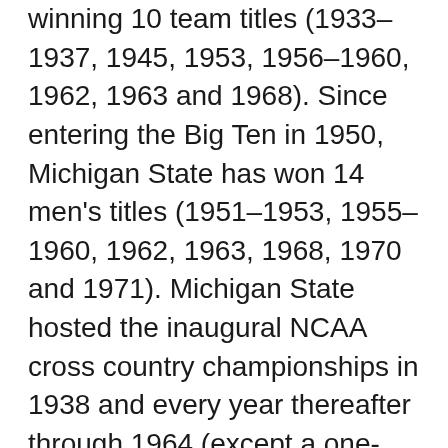winning 10 team titles (1933–1937, 1945, 1953, 1956–1960, 1962, 1963 and 1968). Since entering the Big Ten in 1950, Michigan State has won 14 men's titles (1951–1953, 1955–1960, 1962, 1963, 1968, 1970 and 1971). Michigan State hosted the inaugural NCAA cross country championships in 1938 and every year thereafter through 1964 (except a one-year vacation in 1943 due to war). The Spartans won eight NCAA championships from 1930 to 1959, including 1939, 1948, 1949, 1952, and 1955–1959 (minus 1957). Walt Drenth is the current director of both the men's and women's cross country and track and field programs. After joining MSU in 2004, Drenth led the men's cross country team to an NCAA Championship bid during the 2004 season.